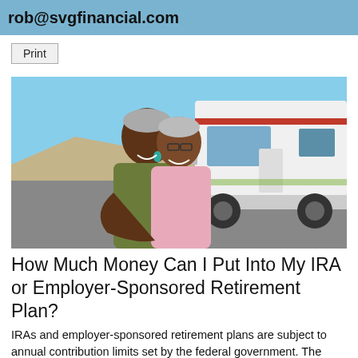rob@svgfinancial.com
Print
[Figure (photo): An older couple smiling in front of a large RV motorhome with a blue sky background]
How Much Money Can I Put Into My IRA or Employer-Sponsored Retirement Plan?
IRAs and employer-sponsored retirement plans are subject to annual contribution limits set by the federal government. The limits are adjusted periodically to compensate for inflation and increases in the cost of living.